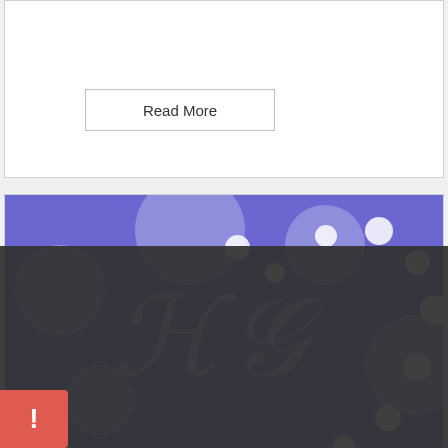[Figure (screenshot): Top card area with a Read More button on white background]
Read More
[Figure (illustration): Purple banner with decorative white circles and a stylized HG monogram logo in white]
Cookie Policy
This site uses cookies to store information on your computer. Click here for more information
Allow Cookies
Deny Cookies